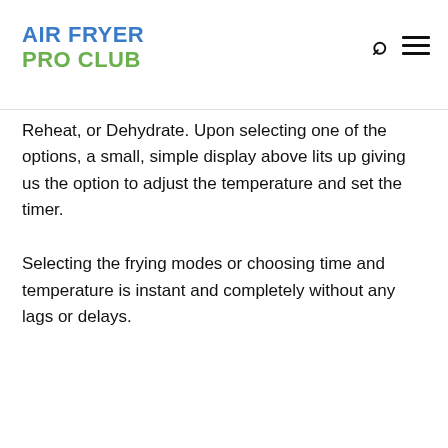AIR FRYER PRO CLUB
Reheat, or Dehydrate. Upon selecting one of the options, a small, simple display above lits up giving us the option to adjust the temperature and set the timer.
Selecting the frying modes or choosing time and temperature is instant and completely without any lags or delays.